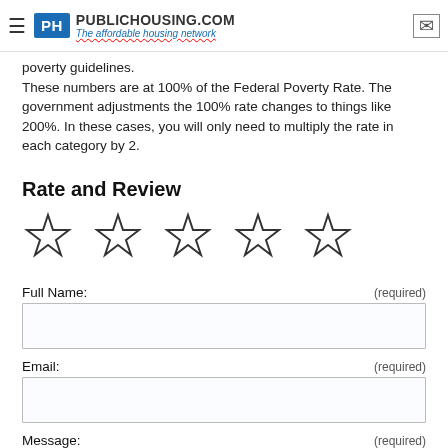PUBLICHOUSING.COM — The affordable housing network
poverty guidelines. These numbers are at 100% of the Federal Poverty Rate. The government adjustments the 100% rate changes to things like 200%. In these cases, you will only need to multiply the rate in each category by 2.
Rate and Review
[Figure (other): Five empty star rating icons in a row]
Full Name: (required)
Email: (required)
Message: (required)